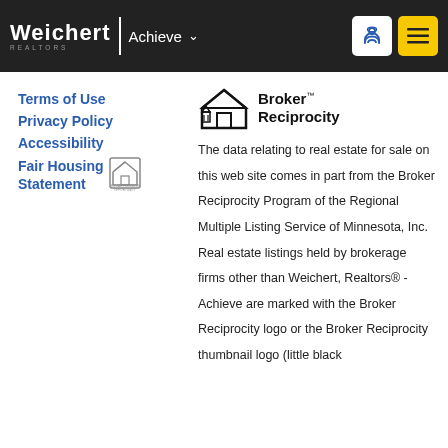Weichert | Achieve
Terms of Use
Privacy Policy
Accessibility
Fair Housing Statement
[Figure (logo): Broker Reciprocity logo with house icon and text]
The data relating to real estate for sale on this web site comes in part from the Broker Reciprocity Program of the Regional Multiple Listing Service of Minnesota, Inc. Real estate listings held by brokerage firms other than Weichert, Realtors® - Achieve are marked with the Broker Reciprocity logo or the Broker Reciprocity thumbnail logo (little black